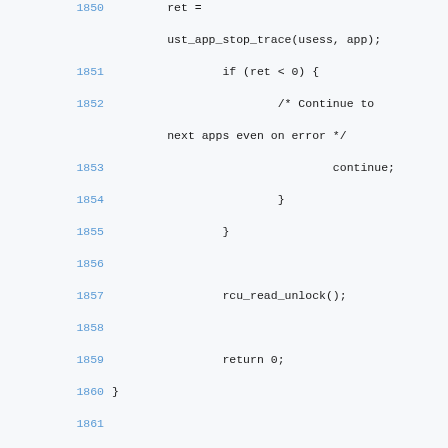Code listing lines 1850-1864 showing C source code with git blame annotations
1850: ret =
ust_app_stop_trace(usess, app);
1851:                 if (ret < 0) {
1852:                         /* Continue to next apps even on error */
1853:                                 continue;
1854:                         }
1855:                 }
1856:
1857:                 rcu_read_unlock();
1858:
1859:                 return 0;
1860: }
1861:
84cd17c6 MD 1862: /*
1863:   * Destroy app UST session.
1864:   */